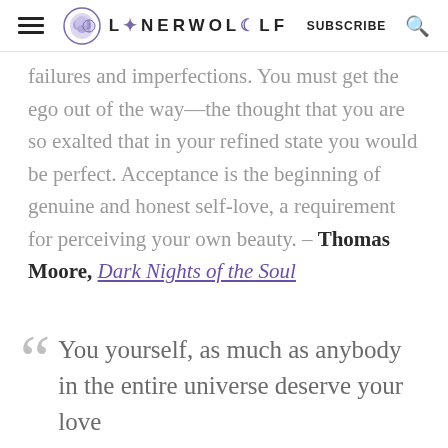LONERWOLF — SUBSCRIBE
failures and imperfections. You must get the ego out of the way—the thought that you are so exalted that in your refined state you would be perfect. Acceptance is the beginning of genuine and honest self-love, a requirement for perceiving your own beauty. – Thomas Moore, Dark Nights of the Soul
You yourself, as much as anybody in the entire universe deserve your love